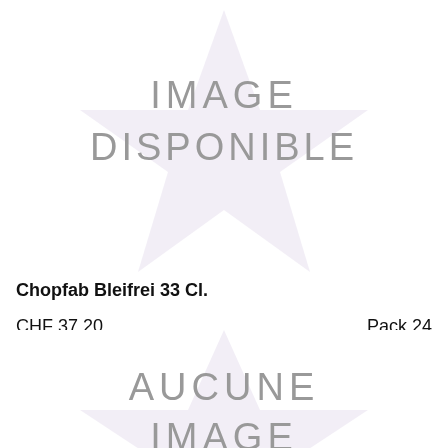[Figure (illustration): Star-shaped placeholder image with text 'IMAGE DISPONIBLE' in light purple/pink on white background]
Chopfab Bleifrei 33 Cl.
CHF 37.20
Pack 24
Voir les détails
[Figure (illustration): Star-shaped placeholder image with text 'AUCUNE IMAGE' partially visible, light purple/pink on white background]